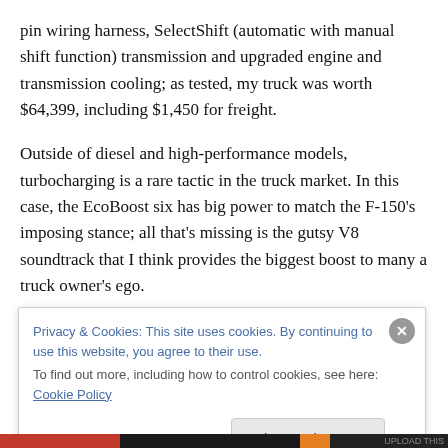pin wiring harness, SelectShift (automatic with manual shift function) transmission and upgraded engine and transmission cooling; as tested, my truck was worth $64,399, including $1,450 for freight.
Outside of diesel and high-performance models, turbocharging is a rare tactic in the truck market. In this case, the EcoBoost six has big power to match the F-150’s imposing stance; all that’s missing is the gutsy V8 soundtrack that I think provides the biggest boost to many a truck owner’s ego.
Privacy & Cookies: This site uses cookies. By continuing to use this website, you agree to their use.
To find out more, including how to control cookies, see here: Cookie Policy